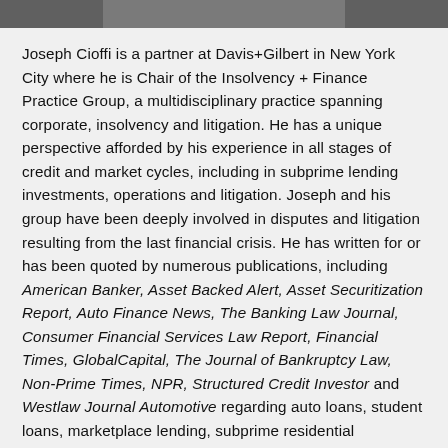[Figure (photo): Partial photo at top of page showing what appears to be a person in a suit]
Joseph Cioffi is a partner at Davis+Gilbert in New York City where he is Chair of the Insolvency + Finance Practice Group, a multidisciplinary practice spanning corporate, insolvency and litigation. He has a unique perspective afforded by his experience in all stages of credit and market cycles, including in subprime lending investments, operations and litigation. Joseph and his group have been deeply involved in disputes and litigation resulting from the last financial crisis. He has written for or has been quoted by numerous publications, including American Banker, Asset Backed Alert, Asset Securitization Report, Auto Finance News, The Banking Law Journal, Consumer Financial Services Law Report, Financial Times, GlobalCapital, The Journal of Bankruptcy Law, Non-Prime Times, NPR, Structured Credit Investor and Westlaw Journal Automotive regarding auto loans, student loans, marketplace lending, subprime residential mortgage-backed securities (RMBS) and environmental, social and governance (ESG) investing.